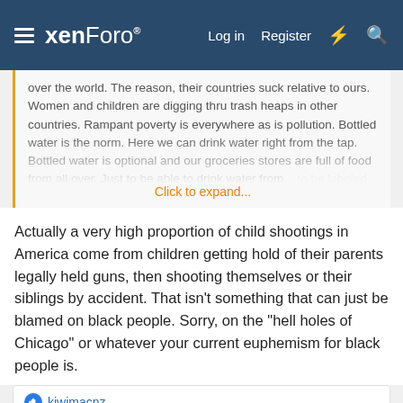xenForo — Log in  Register
over the world. The reason, their countries suck relative to ours. Women and children are digging thru trash heaps in other countries. Rampant poverty is everywhere as is pollution. Bottled water is the norm. Here we can drink water right from the tap. Bottled water is optional and our groceries stores are full of food from all over. Just to be able to drink water from... Click to expand...
Actually a very high proportion of child shootings in America come from children getting hold of their parents legally held guns, then shooting themselves or their siblings by accident. That isn't something that can just be blamed on black people. Sorry, on the "hell holes of Chicago" or whatever your current euphemism for black people is.
kiwimacnz
BMS
Well-known member